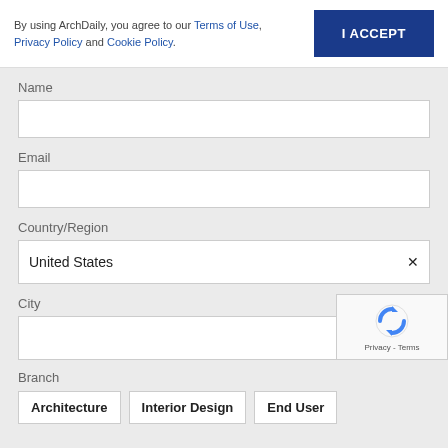By using ArchDaily, you agree to our Terms of Use, Privacy Policy and Cookie Policy.
I ACCEPT
Name
Email
Country/Region
United States
City
[Figure (logo): reCAPTCHA logo with arrows icon and Privacy - Terms text]
Branch
Architecture  Interior Design  End User